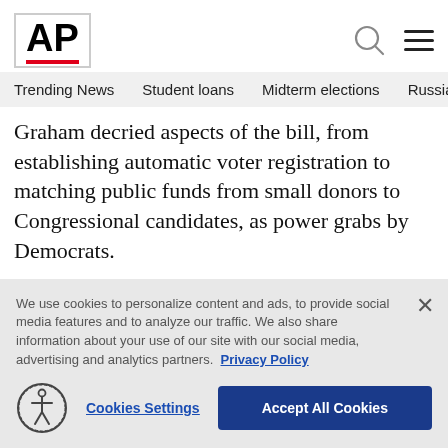AP
Trending News   Student loans   Midterm elections   Russia-Ukr
Graham decried aspects of the bill, from establishing automatic voter registration to matching public funds from small donors to Congressional candidates, as power grabs by Democrats.
“This is the biggest power grab in modern American history, pushed by the most radical people in modern
We use cookies to personalize content and ads, to provide social media features and to analyze our traffic. We also share information about your use of our site with our social media, advertising and analytics partners.  Privacy Policy
Cookies Settings   Accept All Cookies